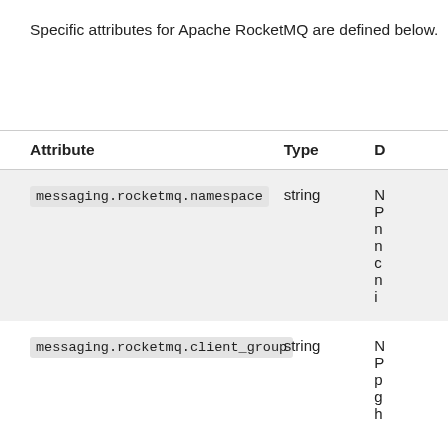Specific attributes for Apache RocketMQ are defined below.
| Attribute | Type | D |
| --- | --- | --- |
| messaging.rocketmq.namespace | string | N... |
| messaging.rocketmq.client_group | string | N... |